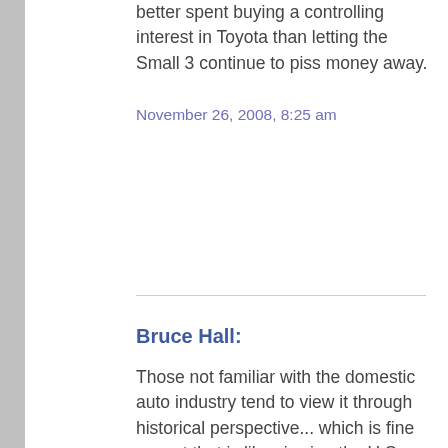better spent buying a controlling interest in Toyota than letting the Small 3 continue to piss money away.
November 26, 2008, 8:25 am
Bruce Hall:
Those not familiar with the domestic auto industry tend to view it through historical perspective... which is fine except that is like viewing the U.S. television manufacturing industry through historical perspective... it has no bearing on today.
A combination of factors has reshaped the U.S.